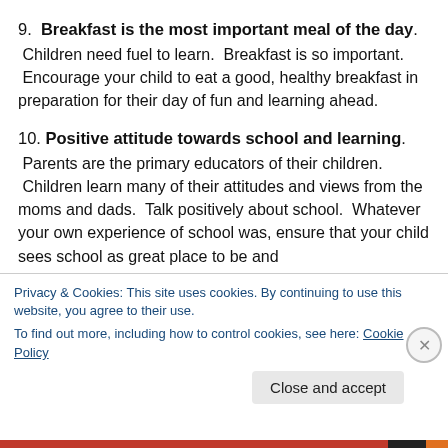9.  Breakfast is the most important meal of the day. Children need fuel to learn.  Breakfast is so important.  Encourage your child to eat a good, healthy breakfast in preparation for their day of fun and learning ahead.
10. Positive attitude towards school and learning. Parents are the primary educators of their children.  Children learn many of their attitudes and views from the moms and dads.  Talk positively about school.  Whatever your own experience of school was, ensure that your child sees school as great place to be and
Privacy & Cookies: This site uses cookies. By continuing to use this website, you agree to their use.
To find out more, including how to control cookies, see here: Cookie Policy